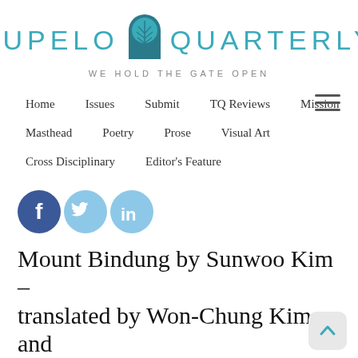[Figure (logo): Tupelo Quarterly logo with leaf/gate icon and tagline 'WE HOLD THE GATE OPEN']
[Figure (other): Hamburger menu icon (three horizontal lines)]
Home   Issues   Submit   TQ Reviews   Mission   Masthead   Poetry   Prose   Visual Art   Cross Disciplinary   Editor's Feature
[Figure (other): Social media icons: Facebook, Twitter, LinkedIn]
Mount Bindung by Sunwoo Kim – translated by Won-Chung Kim and